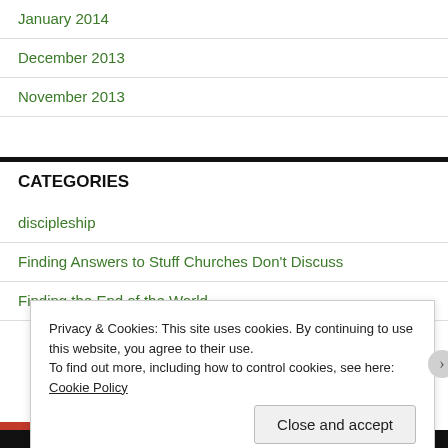January 2014
December 2013
November 2013
CATEGORIES
discipleship
Finding Answers to Stuff Churches Don't Discuss
Finding the End of the World
Privacy & Cookies: This site uses cookies. By continuing to use this website, you agree to their use.
To find out more, including how to control cookies, see here: Cookie Policy
Close and accept